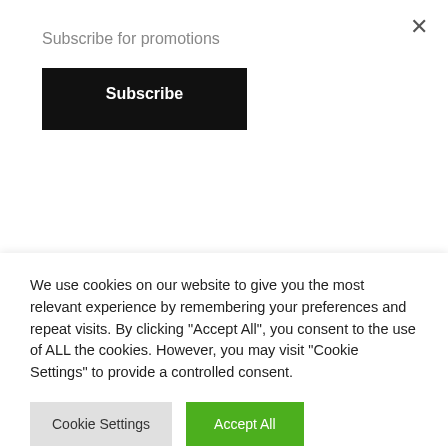Subscribe for promotions
×
Subscribe
Pour in Soap Dispenser
€40.00
Cloths Yellow. 10 pack
€9.99
[Figure (illustration): Partially visible product images of cleaning items]
We use cookies on our website to give you the most relevant experience by remembering your preferences and repeat visits. By clicking "Accept All", you consent to the use of ALL the cookies. However, you may visit "Cookie Settings" to provide a controlled consent.
Cookie Settings
Accept All